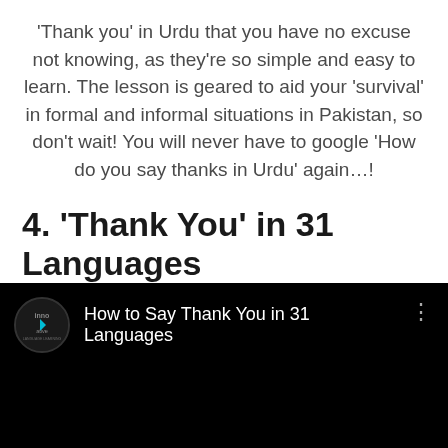'Thank you' in Urdu that you have no excuse not knowing, as they're so simple and easy to learn. The lesson is geared to aid your 'survival' in formal and informal situations in Pakistan, so don't wait! You will never have to google 'How do you say thanks in Urdu' again…!
4. 'Thank You' in 31 Languages
[Figure (screenshot): YouTube video thumbnail/player showing 'How to Say Thank You in 31 Languages' by Innovative Language Learning channel on a black background, with channel logo on the left and three-dot menu on the right.]